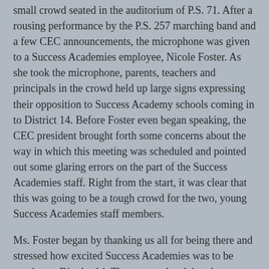small crowd seated in the auditorium of P.S. 71. After a rousing performance by the P.S. 257 marching band and a few CEC announcements, the microphone was given to a Success Academies employee, Nicole Foster. As she took the microphone, parents, teachers and principals in the crowd held up large signs expressing their opposition to Success Academy schools coming in to District 14. Before Foster even began speaking, the CEC president brought forth some concerns about the way in which this meeting was scheduled and pointed out some glaring errors on the part of the Success Academies staff. Right from the start, it was clear that this was going to be a tough crowd for the two, young Success Academies staff members.
Ms. Foster began by thanking us all for being there and stressed how excited Success Academies was to be coming to District 14. They were, she claimed, attending this meeting in order to start a "respectful dialogue" with the community. Yet, she did not address Moskowitz's absence. How important is dialogue with the community to your organization if your own CEO doesn't show up to meet the community? She talked briefly about her background, the Success Academies philosophy and their plans to open more charter schools in District 14. Next, she called upon two Harlem